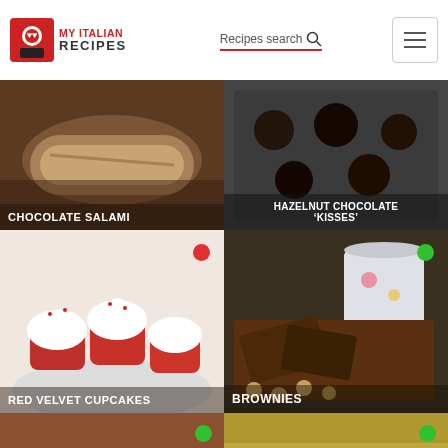MY ITALIAN RECIPES | Recipes search | Navigation menu
[Figure (photo): Chocolate salami roll wrapped in paper on wooden surface]
CHOCOLATE SALAMI
[Figure (photo): Hazelnut chocolate kisses in a baking tray]
HAZELNUT CHOCOLATE 'KISSES'
[Figure (photo): Red velvet cupcakes with white frosting on a plate]
RED VELVET CUPCAKES
[Figure (photo): Brownies with hazelnuts beside a decorative cup]
BROWNIES
[Figure (photo): Gingerbread man cookies on a plate]
[Figure (photo): Small round appetizer bites on a tray]